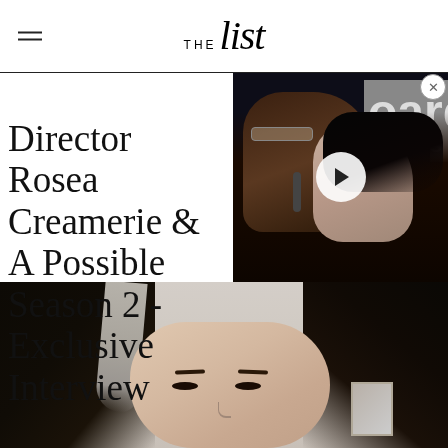THE List
[Figure (screenshot): Video thumbnail of two people at a Billboard event, with a play button overlay]
Director Rosea Creamerie & A Possible Season 2 - Exclusive Interview
[Figure (photo): Close-up photo of a person with dark hair with gray/silver highlights, looking at the camera]